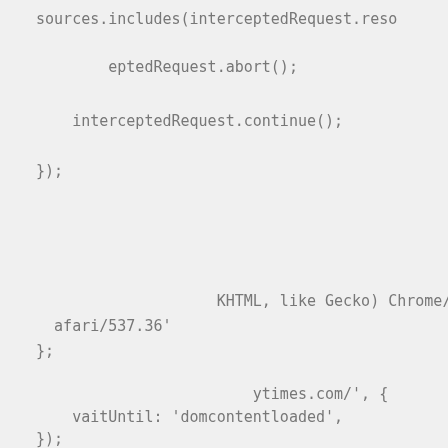sources.includes(interceptedRequest.reso
eptedRequest.abort();
interceptedRequest.continue();
});
KHTML, like Gecko) Chrome/100.0.4896.12
afari/537.36'
};
ytimes.com/', {
vaitUntil: 'domcontentloaded',
});